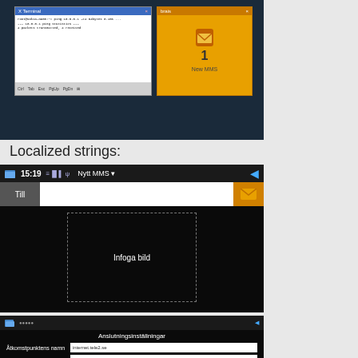[Figure (screenshot): X Terminal window and 'brais' MMS notification window on a dark OS desktop background]
Localized strings:
[Figure (screenshot): Mobile MMS compose screen in Swedish showing 'Nytt MMS' title, 'Till' button, text input, and 'Infoga bild' image placeholder area]
[Figure (screenshot): Mobile connection settings screen in Swedish showing 'Anslutningsinställningar' with 'Åtkomstpunktens namn' field set to 'internet.tele2.se' and 'MMSC' field set to 'http://mmsc.tele2.se']